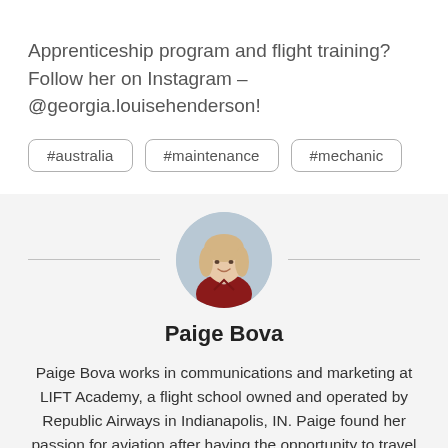Apprenticeship program and flight training? Follow her on Instagram – @georgia.louisehenderson!
#australia
#maintenance
#mechanic
[Figure (photo): Circular portrait photo of Paige Bova, a woman with blonde hair wearing a dark red top]
Paige Bova
Paige Bova works in communications and marketing at LIFT Academy, a flight school owned and operated by Republic Airways in Indianapolis, IN. Paige found her passion for aviation after having the opportunity to travel the world - including Australia